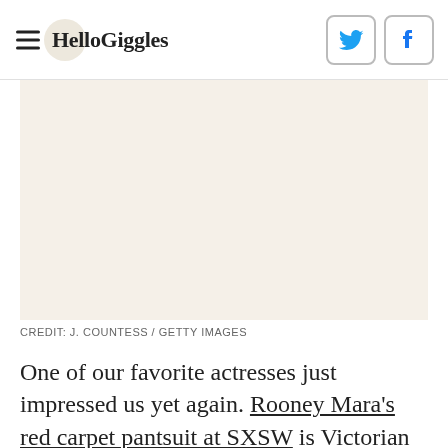HelloGiggles
[Figure (photo): Large image placeholder with beige/cream background, likely a fashion photo of Rooney Mara at SXSW]
CREDIT: J. COUNTESS / GETTY IMAGES
One of our favorite actresses just impressed us yet again. Rooney Mara's red carpet pantsuit at SXSW is Victorian meets Audrey Hepburn, and we're